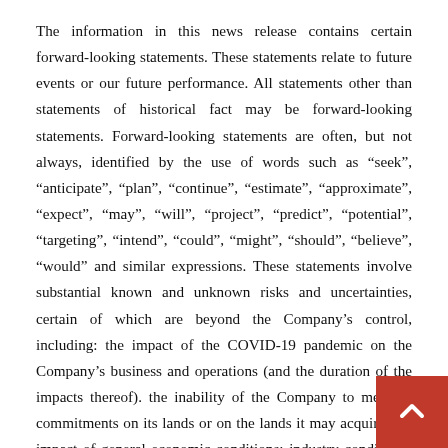The information in this news release contains certain forward-looking statements. These statements relate to future events or our future performance. All statements other than statements of historical fact may be forward-looking statements. Forward-looking statements are often, but not always, identified by the use of words such as “seek”, “anticipate”, “plan”, “continue”, “estimate”, “approximate”, “expect”, “may”, “will”, “project”, “predict”, “potential”, “targeting”, “intend”, “could”, “might”, “should”, “believe”, “would” and similar expressions. These statements involve substantial known and unknown risks and uncertainties, certain of which are beyond the Company’s control, including: the impact of the COVID-19 pandemic on the Company’s business and operations (and the duration of the impacts thereof). the inability of the Company to meet its commitments on its lands or on the lands it may acquire, the impact of general economic conditions; industry conditions; changes in laws and regulations including adoption of new environmental laws and regulations and changes in